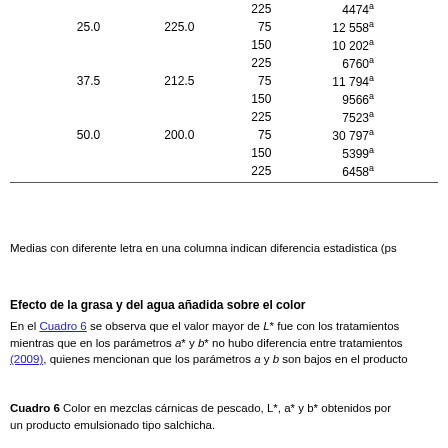|  |  | 225 | 4474ᵃ |
| 25.0 | 225.0 | 75 | 12 558ᵃ |
|  |  | 150 | 10 202ᵃ |
|  |  | 225 | 6760ᵃ |
| 37.5 | 212.5 | 75 | 11 794ᵃ |
|  |  | 150 | 9566ᵃ |
|  |  | 225 | 7523ᵃ |
| 50.0 | 200.0 | 75 | 30 797ᵃ |
|  |  | 150 | 5399ᵃ |
|  |  | 225 | 6458ᵃ |
Medias con diferente letra en una columna indican diferencia estadistica (ps
Efecto de la grasa y del agua añadida sobre el color
En el Cuadro 6 se observa que el valor mayor de L* fue con los tratamientos mientras que en los parámetros a* y b* no hubo diferencia entre tratamientos (2009), quienes mencionan que los parámetros a y b son bajos en el producto
Cuadro 6 Color en mezclas cárnicas de pescado, L*, a* y b* obtenidos por un producto emulsionado tipo salchicha.